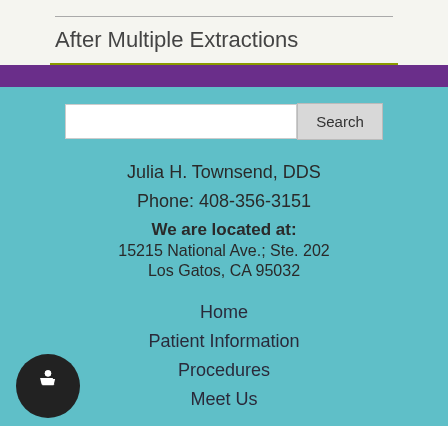After Multiple Extractions
Julia H. Townsend, DDS
Phone: 408-356-3151
We are located at:
15215 National Ave.; Ste. 202
Los Gatos, CA 95032
Home
Patient Information
Procedures
Meet Us